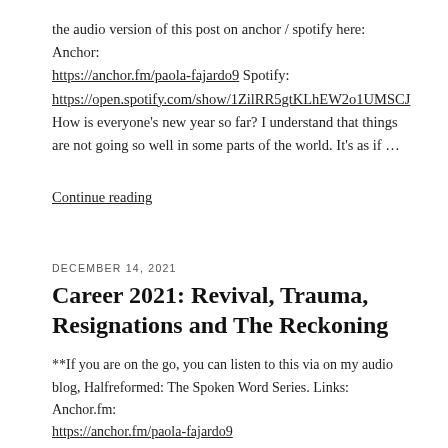the audio version of this post on anchor / spotify here: Anchor: https://anchor.fm/paola-fajardo9 Spotify: https://open.spotify.com/show/1ZilRR5gtKLhEW2o1UMSCJ How is everyone's new year so far? I understand that things are not going so well in some parts of the world. It's as if …
Continue reading
DECEMBER 14, 2021
Career 2021: Revival, Trauma, Resignations and The Reckoning
**If you are on the go, you can listen to this via on my audio blog, Halfreformed: The Spoken Word Series. Links: Anchor.fm: https://anchor.fm/paola-fajardo9 Spotify: https://open.spotify.com/show/1ZilRR5gtKLhEW2o1UMSCJ Photo by Marcos Paulo Prado via Unsplash Revival & Trauma …And